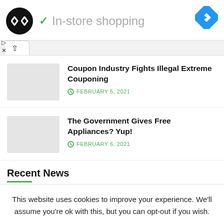[Figure (screenshot): Website header with logo (black circle with infinity-like arrow icon), green checkmark and 'In-store shopping' text, blue navigation diamond icon, and ad close icons (play and X)]
[Figure (screenshot): Tab with up chevron (collapse/expand arrow)]
Coupon Industry Fights Illegal Extreme Couponing — FEBRUARY 5, 2021
The Government Gives Free Appliances? Yup! — FEBRUARY 6, 2021
Recent News
This website uses cookies to improve your experience. We'll assume you're ok with this, but you can opt-out if you wish.
Cookie settings   ACCEPT